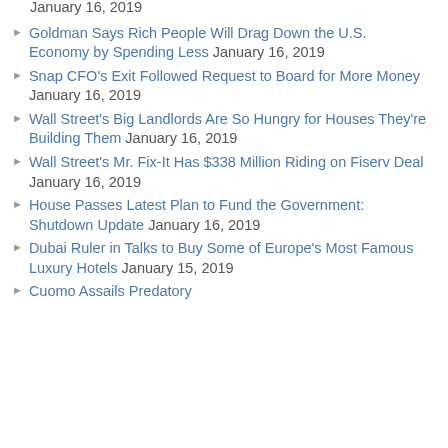January 16, 2019
Goldman Says Rich People Will Drag Down the U.S. Economy by Spending Less January 16, 2019
Snap CFO's Exit Followed Request to Board for More Money January 16, 2019
Wall Street's Big Landlords Are So Hungry for Houses They're Building Them January 16, 2019
Wall Street's Mr. Fix-It Has $338 Million Riding on Fiserv Deal January 16, 2019
House Passes Latest Plan to Fund the Government: Shutdown Update January 16, 2019
Dubai Ruler in Talks to Buy Some of Europe's Most Famous Luxury Hotels January 15, 2019
Cuomo Assails Predatory